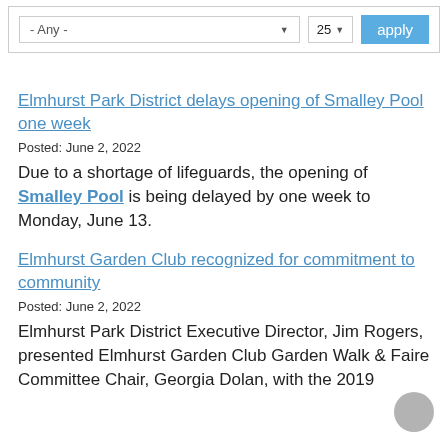[Figure (screenshot): Filter bar with '- Any -' dropdown, '25' number selector, and 'apply' button]
Elmhurst Park District delays opening of Smalley Pool one week
Posted: June 2, 2022
Due to a shortage of lifeguards, the opening of Smalley Pool is being delayed by one week to Monday, June 13.
Elmhurst Garden Club recognized for commitment to community
Posted: June 2, 2022
Elmhurst Park District Executive Director, Jim Rogers, presented Elmhurst Garden Club Garden Walk & Faire Committee Chair, Georgia Dolan, with the 2019...